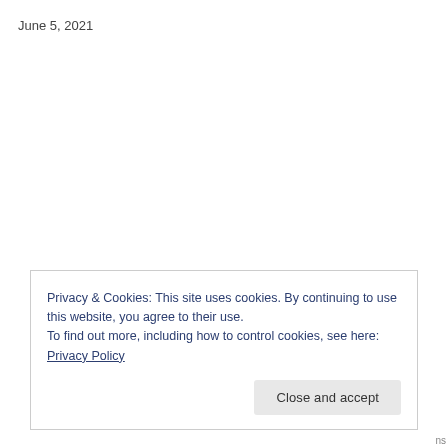June 5, 2021
Privacy & Cookies: This site uses cookies. By continuing to use this website, you agree to their use.
To find out more, including how to control cookies, see here: Privacy Policy
Close and accept